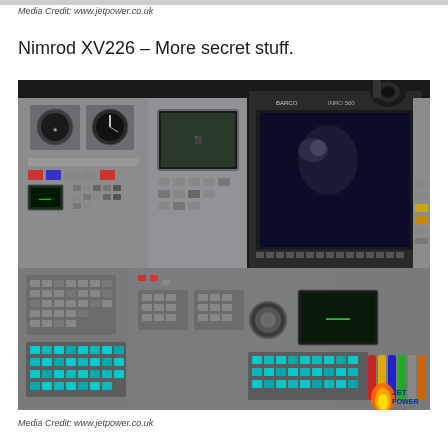Media Credit: www.jetpower.co.uk
Nimrod XV226 – More secret stuff.
[Figure (photo): Interior cockpit/workstation photograph of Nimrod XV226 aircraft showing a complex avionic control panel with multiple screens including a large BARCO display monitor, various buttons, switches, keyboards with blue and teal keys, and numerous instruments. A JetPower.co.uk watermark logo appears in the bottom right corner.]
Media Credit: www.jetpower.co.uk